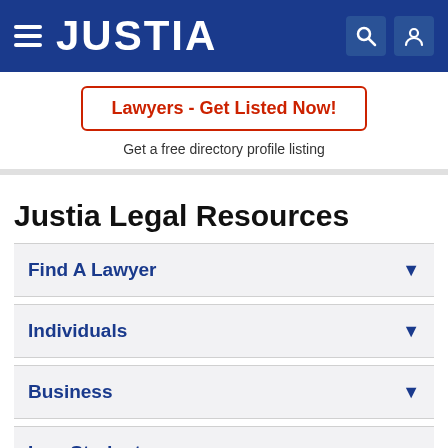JUSTIA
Lawyers - Get Listed Now!
Get a free directory profile listing
Justia Legal Resources
Find A Lawyer
Individuals
Business
Law Students
US Federal Law